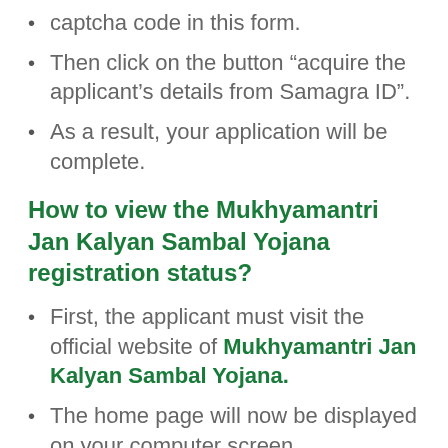captcha code in this form.
Then click on the button “acquire the applicant’s details from Samagra ID”.
As a result, your application will be complete.
How to view the Mukhyamantri Jan Kalyan Sambal Yojana registration status?
First, the applicant must visit the official website of Mukhyamantri Jan Kalyan Sambal Yojana.
The home page will now be displayed on your computer screen.
To check the status of your